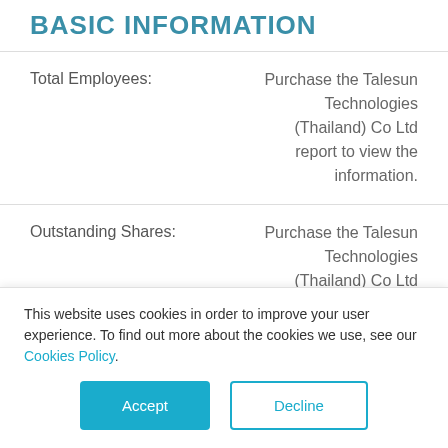BASIC INFORMATION
| Field | Value |
| --- | --- |
| Total Employees: | Purchase the Talesun Technologies (Thailand) Co Ltd report to view the information. |
| Outstanding Shares: | Purchase the Talesun Technologies (Thailand) Co Ltd report to view the information. |
| Financial Auditors: | Purchase the Talesun Technologies (Thailand) Co Ltd report to view the information. |
This website uses cookies in order to improve your user experience. To find out more about the cookies we use, see our Cookies Policy.